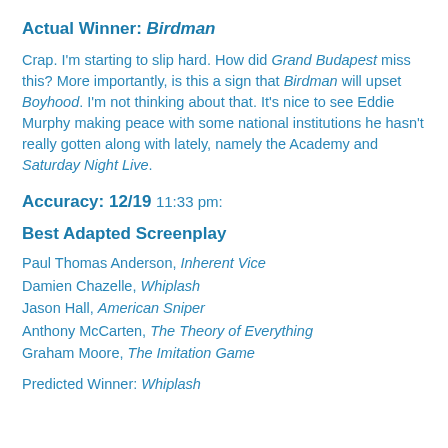Actual Winner: Birdman
Crap. I'm starting to slip hard. How did Grand Budapest miss this? More importantly, is this a sign that Birdman will upset Boyhood. I'm not thinking about that. It's nice to see Eddie Murphy making peace with some national institutions he hasn't really gotten along with lately, namely the Academy and Saturday Night Live.
Accuracy: 12/19
11:33 pm:
Best Adapted Screenplay
Paul Thomas Anderson, Inherent Vice
Damien Chazelle, Whiplash
Jason Hall, American Sniper
Anthony McCarten, The Theory of Everything
Graham Moore, The Imitation Game
Predicted Winner: Whiplash